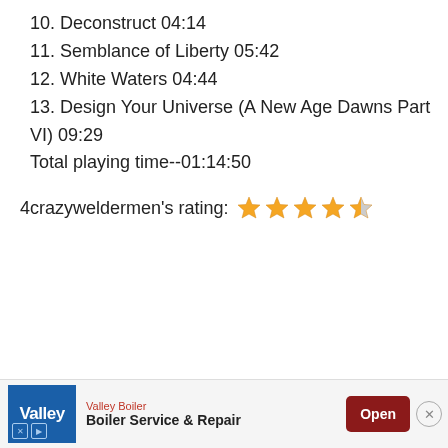10. Deconstruct 04:14
11. Semblance of Liberty 05:42
12. White Waters 04:44
13. Design Your Universe (A New Age Dawns Part VI) 09:29
Total playing time--01:14:50
4crazyweldermen's rating: ★★★★★ (4.5 stars)
[Figure (other): Advertisement banner: Valley Boiler - Boiler Service & Repair with Open button]